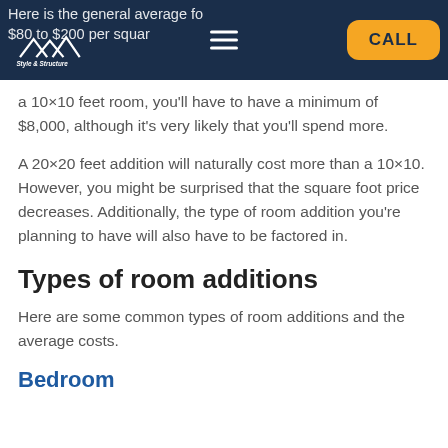Here is the general average for $80 to $200 per square
a 10×10 feet room, you'll have to have a minimum of $8,000, although it's very likely that you'll spend more.
A 20×20 feet addition will naturally cost more than a 10×10. However, you might be surprised that the square foot price decreases. Additionally, the type of room addition you're planning to have will also have to be factored in.
Types of room additions
Here are some common types of room additions and the average costs.
Bedroom